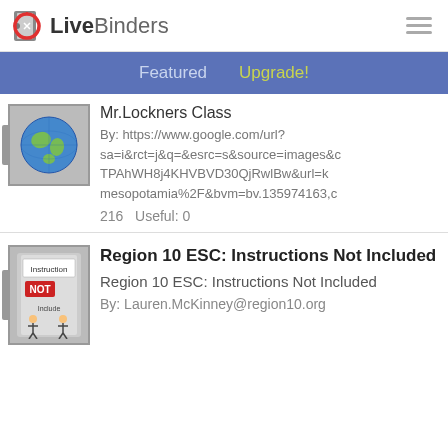LiveBinders
Featured   Upgrade!
Mr.Lockners Class
By: https://www.google.com/url?sa=i&rct=j&q=&esrc=s&source=images&cd=TPAhWH8j4KHVBVD30QjRwlBw&url=mesopotamia%2F&bvm=bv.135974163,c
216   Useful: 0
Region 10 ESC: Instructions Not Included
Region 10 ESC: Instructions Not Included
By: Lauren.McKinney@region10.org